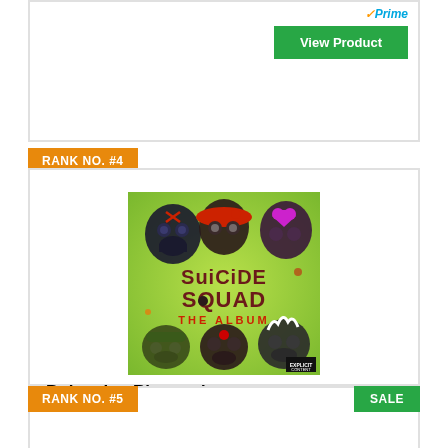[Figure (screenshot): Partial product card top section with Amazon Prime logo and View Product button]
RANK NO. #4
[Figure (photo): Suicide Squad: The Album soundtrack cover art featuring stylized skull characters]
Bohemian Rhapsody
View Product
RANK NO. #5
SALE